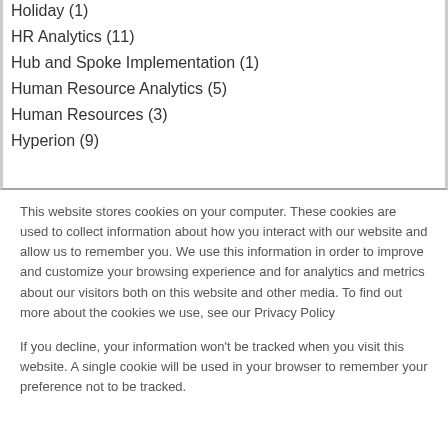Holiday (1)
HR Analytics (11)
Hub and Spoke Implementation (1)
Human Resource Analytics (5)
Human Resources (3)
Hyperion (9)
This website stores cookies on your computer. These cookies are used to collect information about how you interact with our website and allow us to remember you. We use this information in order to improve and customize your browsing experience and for analytics and metrics about our visitors both on this website and other media. To find out more about the cookies we use, see our Privacy Policy
If you decline, your information won’t be tracked when you visit this website. A single cookie will be used in your browser to remember your preference not to be tracked.